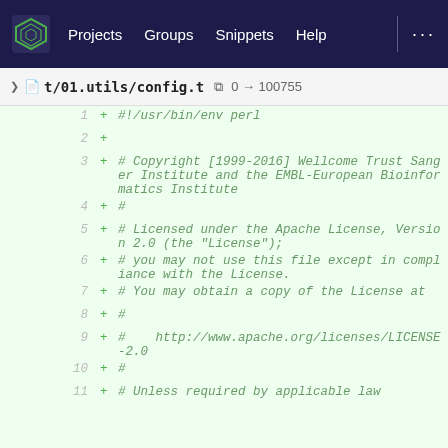Projects  Groups  Snippets  Help  ...
t/01.utils/config.t  0 → 100755
[Figure (screenshot): Code diff view showing lines 1-11 of t/01.utils/config.t file, displaying a Perl script header with Apache License 2.0 copyright notice for Wellcome Trust Sanger Institute and the EMBL-European Bioinformatics Institute.]